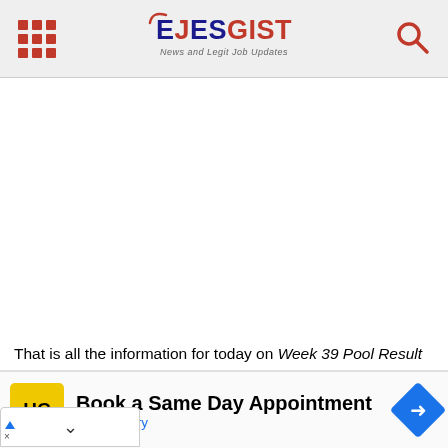EJESGIST - News and Legit Job Updates
That is all the information for today on Week 39 Pool Result 2022 or wk 39  Pool Result.
[Figure (screenshot): Advertisement banner for Hair Cuttery: Book a Same Day Appointment]
Book a Same Day Appointment - Hair Cuttery